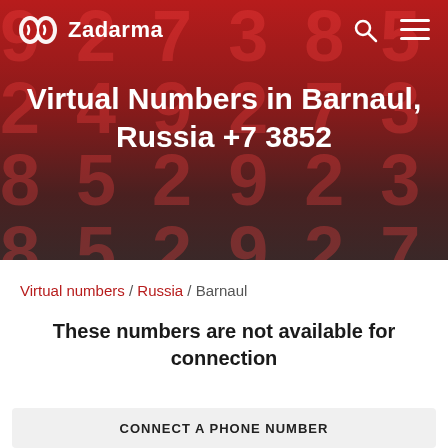Zadarma
Virtual Numbers in Barnaul, Russia +7 3852
Virtual numbers / Russia / Barnaul
These numbers are not available for connection
CONNECT A PHONE NUMBER